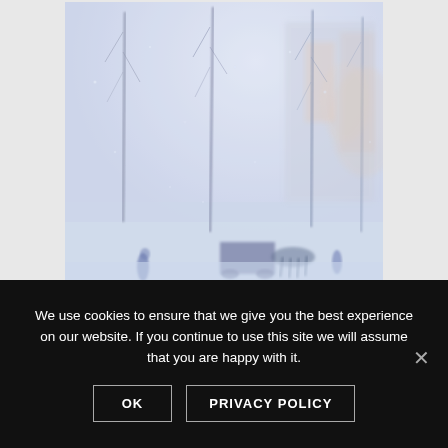[Figure (illustration): Impressionist painting of a winter street scene in New York — Late Afternoon, New York, Winter. Soft bluish-white tones, bare trees, figures and horse carriages in snow, atmospheric hazy quality.]
Late Afternoon, New York, Winter
We use cookies to ensure that we give you the best experience on our website. If you continue to use this site we will assume that you are happy with it.